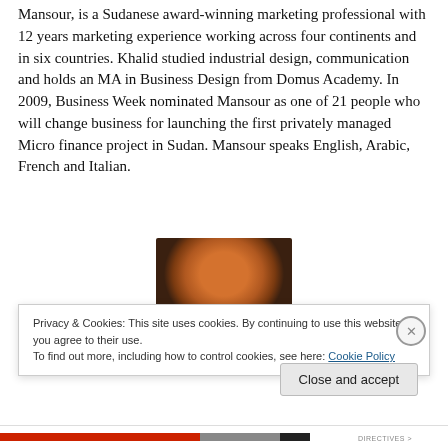Mansour, is a Sudanese award-winning marketing professional with 12 years marketing experience working across four continents and in six countries. Khalid studied industrial design, communication and holds an MA in Business Design from Domus Academy. In 2009, Business Week nominated Mansour as one of 21 people who will change business for launching the first privately managed Micro finance project in Sudan. Mansour speaks English, Arabic, French and Italian.
[Figure (photo): Partial photo showing a rounded brown/orange object, partially obscured by a cookie consent banner overlay.]
Privacy & Cookies: This site uses cookies. By continuing to use this website, you agree to their use.
To find out more, including how to control cookies, see here: Cookie Policy
Close and accept